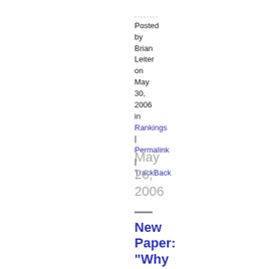......... Posted by Brian Leiter on May 30, 2006 in Rankings | Permalink | TrackBack
May 26, 2006
New Paper: "Why Tolerate Religion?"
I have posted a new paper